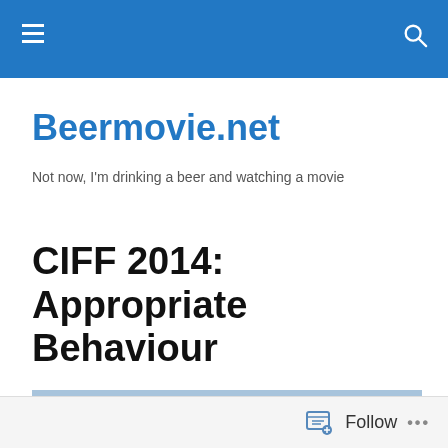Beermovie.net navigation bar
Beermovie.net
Not now, I'm drinking a beer and watching a movie
CIFF 2014: Appropriate Behaviour
[Figure (photo): Movie still or promotional image for 'Appropriate Behaviour' showing a street scene with a building sign reading 'KENTILE FLOORS' reversed, a street lamp, blue sky with clouds, and script text reading 'Appropriate' overlaid on the image. Also visible is text 'ARCHITECTURAL GRILLE' on a teal building.]
Follow ...